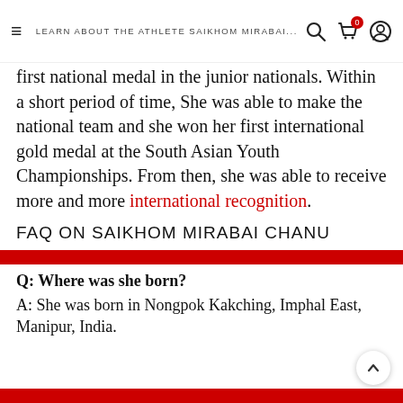LEARN ABOUT THE ATHLETE SAIKHOM MIRABAI...
first national medal in the junior nationals. Within a short period of time, She was able to make the national team and she won her first international gold medal at the South Asian Youth Championships. From then, she was able to receive more and more international recognition.
FAQ ON SAIKHOM MIRABAI CHANU
Q: Where was she born?
A: She was born in Nongpok Kakching, Imphal East, Manipur, India.